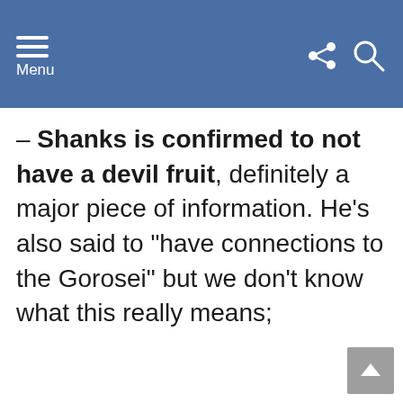Menu
– Shanks is confirmed to not have a devil fruit, definitely a major piece of information. He's also said to “have connections to the Gorosei” but we don’t know what this really means;